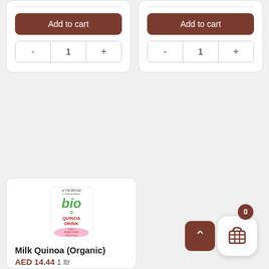[Figure (screenshot): E-commerce product listing page showing two partial product cards at top with 'Add to cart' buttons and quantity controls, and a third product card partially visible at bottom showing Bio Quinoa Drink product image, titled 'Milk Quinoa (Organic)' priced at AED 14.44 1 ltr, with a scroll-up button and shopping cart icon with badge '0' in bottom right.]